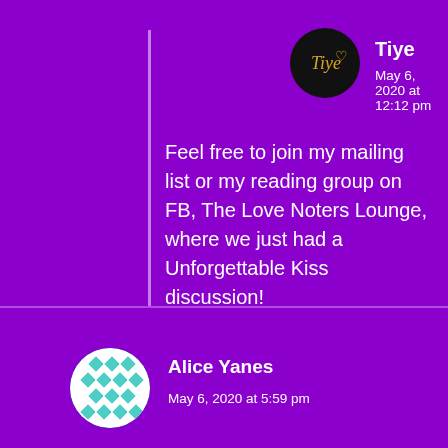Tiye
May 6, 2020 at 12:12 pm
Feel free to join my mailing list or my reading group on FB, The Love Noters Lounge, where we just had a Unforgettable Kiss discussion!
Like
Reply
Alice Yanes
May 6, 2020 at 5:59 pm